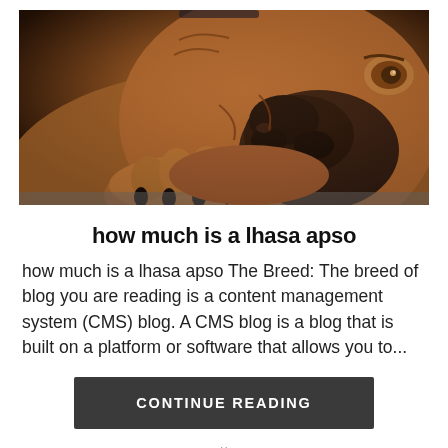[Figure (photo): Close-up photo of a brown/tan bulldog lying down with its paw visible in the foreground, looking directly at the camera with droopy eyes and a large black nose.]
how much is a lhasa apso
how much is a lhasa apso The Breed: The breed of blog you are reading is a content management system (CMS) blog. A CMS blog is a blog that is built on a platform or software that allows you to...
CONTINUE READING
×